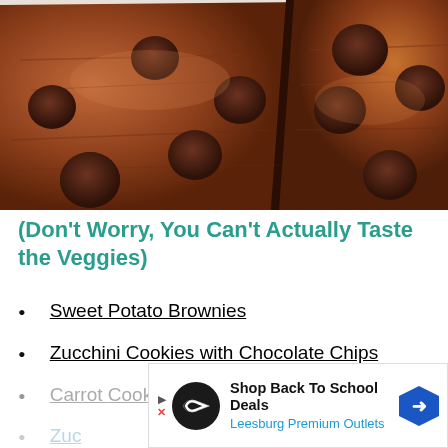[Figure (photo): Close-up photo of chocolate brownies topped with chocolate chips, cut into squares on parchment paper]
(Don't Worry, You Can't Actually Taste the Veggies)
Sweet Potato Brownies
Zucchini Cookies with Chocolate Chips
Carrot Cookies
Zuc…
[Figure (other): Advertisement overlay: Shop Back To School Deals – Leesburg Premium Outlets]